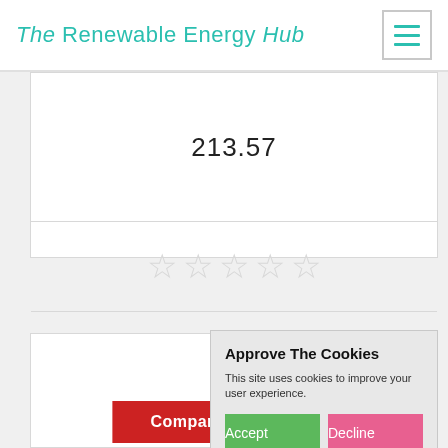The Renewable Energy Hub
213.57
[Figure (other): Five empty star rating icons (gray outline)]
[Figure (other): Empty checkbox (square outline)]
Get a Quote
Approve The Cookies
This site uses cookies to improve your user experience.
Accept  Decline
Cookie policy
Compare Quotations